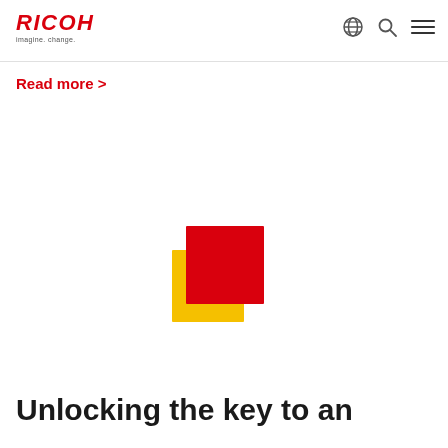RICOH imagine. change.
Read more >
[Figure (logo): Ricoh logo mark — overlapping red and yellow square shapes forming a stylized document/page icon]
Unlocking the key to an